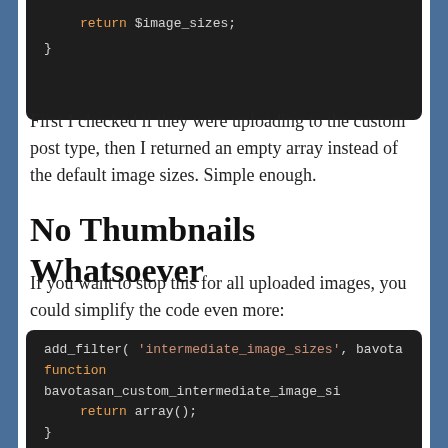[Figure (screenshot): Code block showing: return $image_sizes; }]
First I checked if they were uploading to the custom post type, then I returned an empty array instead of the default image sizes. Simple enough.
No Thumbnails Whatsoever
If you want to stop this for all uploaded images, you could simplify the code even more:
[Figure (screenshot): Code block showing: add_filter( 'intermediate_image_sizes', bavotas
function bavotasan_custom_intermediate_image_si
    return array();
}]
No...